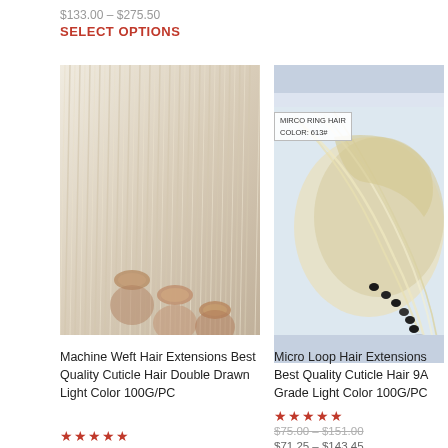$133.00 – $275.50
SELECT OPTIONS
[Figure (photo): Machine weft hair extensions bundled with elastic bands, showing light/platinum blonde straight hair]
[Figure (photo): Micro loop hair extensions in light blonde color 613#, with micro ring beads visible at the ends]
Machine Weft Hair Extensions Best Quality Cuticle Hair Double Drawn Light Color 100G/PC
Micro Loop Hair Extensions Best Quality Cuticle Hair 9A Grade Light Color 100G/PC
★★★★★
★★★★★
$89.00 – $272.00
$84.55 – $258.40
$75.00 – $151.00
$71.25 – $143.45
SELECT OPTIONS